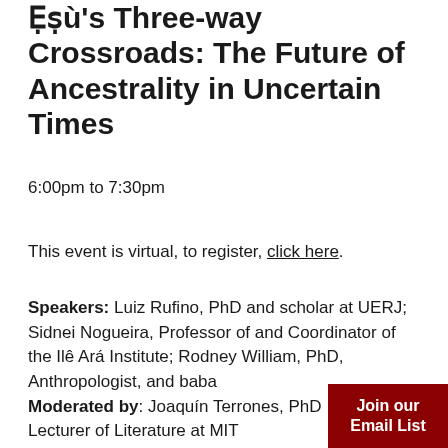Ẹṣù's Three-way Crossroads: The Future of Ancestrality in Uncertain Times
6:00pm to 7:30pm
This event is virtual, to register, click here.
Speakers: Luiz Rufino, PhD and scholar at UERJ; Sidnei Nogueira, Professor of and Coordinator of the Ilê Ará Institute; Rodney William, PhD, Anthropologist, and baba Moderated by: Joaquín Terrones, PhD Lecturer of Literature at MIT
Join our Email List